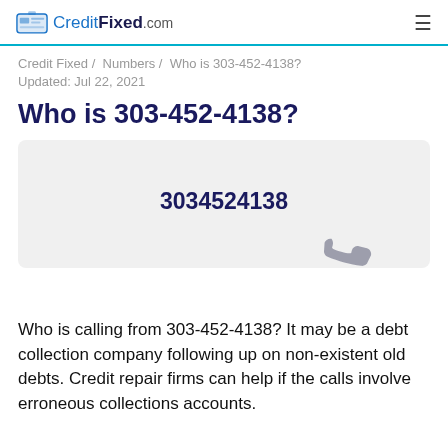CreditFixed.com
Credit Fixed / Numbers / Who is 303-452-4138?
Updated: Jul 22, 2021
Who is 303-452-4138?
[Figure (other): Phone number display card showing 3034524138 with a phone handset icon]
Who is calling from 303-452-4138? It may be a debt collection company following up on non-existent old debts. Credit repair firms can help if the calls involve erroneous collections accounts.